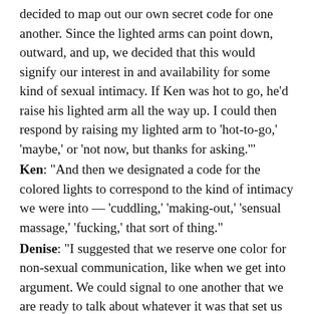decided to map out our own secret code for one another. Since the lighted arms can point down, outward, and up, we decided that this would signify our interest in and availability for some kind of sexual intimacy. If Ken was hot to go, he'd raise his lighted arm all the way up. I could then respond by raising my lighted arm to 'hot-to-go,' 'maybe,' or 'not now, but thanks for asking.'
Ken: "And then we designated a code for the colored lights to correspond to the kind of intimacy we were into — 'cuddling,' 'making-out,' 'sensual massage,' 'fucking,' that sort of thing."
Denise: "I suggested that we reserve one color for non-sexual communication, like when we get into argument. We could signal to one another that we are ready to talk about whatever it was that set us off. The more we used the Moodsign, the more versatile it became. I found it really delightful and